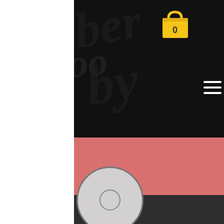[Figure (screenshot): Mobile app screenshot showing a user profile page. Top section has a dark/black background with graffiti-style text and a yellow shopping bag icon showing '0'. A salmon/pink banner area contains a Follow button and three-dot menu. A circular avatar placeholder is shown. Username 'One hash brown' is displayed with '0 Followers • 0 Following'. A blue FAB button with three dots appears at the bottom right, and 'Profile' text is visible at the bottom left.]